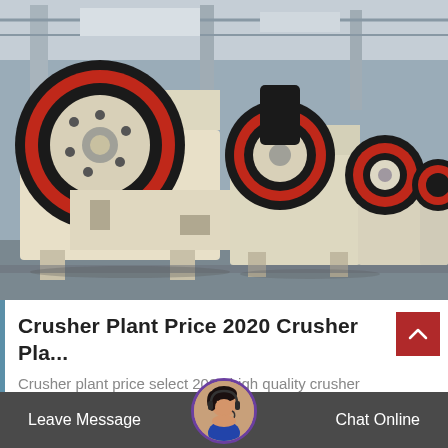[Figure (photo): Industrial jaw crusher machines lined up in a factory/warehouse setting. Multiple large jaw crushers with distinctive red and black flywheels on cream/beige colored frames, photographed in an industrial hall with steel roof structure.]
Crusher Plant Price 2020 Crusher Pla…
Crusher plant price select 2020 high quality crusher plant price products in from certified…
Leave Message   Chat Online